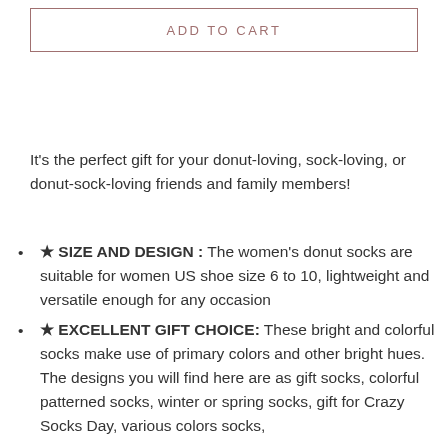ADD TO CART
It's the perfect gift for your donut-loving, sock-loving, or donut-sock-loving friends and family members!
★ SIZE AND DESIGN : The women's donut socks are suitable for women US shoe size 6 to 10, lightweight and versatile enough for any occasion
★ EXCELLENT GIFT CHOICE: These bright and colorful socks make use of primary colors and other bright hues. The designs you will find here are as gift socks, colorful patterned socks, winter or spring socks, gift for Crazy Socks Day, various colors socks,